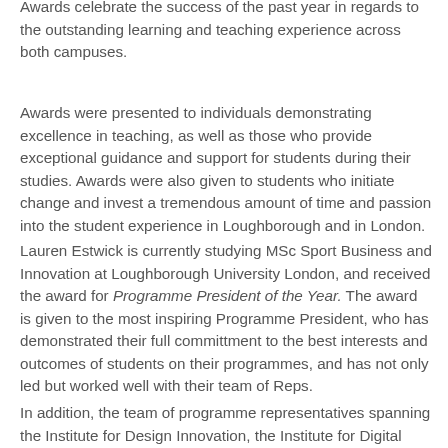Awards celebrate the success of the past year in regards to the outstanding learning and teaching experience across both campuses.
Awards were presented to individuals demonstrating excellence in teaching, as well as those who provide exceptional guidance and support for students during their studies. Awards were also given to students who initiate change and invest a tremendous amount of time and passion into the student experience in Loughborough and in London.
Lauren Estwick is currently studying MSc Sport Business and Innovation at Loughborough University London, and received the award for Programme President of the Year. The award is given to the most inspiring Programme President, who has demonstrated their full committment to the best interests and outcomes of students on their programmes, and has not only led but worked well with their team of Reps.
In addition, the team of programme representatives spanning the Institute for Design Innovation, the Institute for Digital Technologies, the Institute for Innovation and Entrepreneurship,